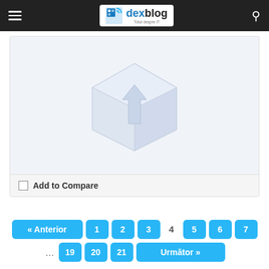dexblog — Totul despre IT
[Figure (illustration): Placeholder product image: light blue-grey box with an upward arrow icon, indicating no image available]
Apple iPad Pro 12.9 (2017) – Full tablet specifications
Add to Compare
« Anterior  1  2  3  4  5  6  7  ...  19  20  21  Următor »